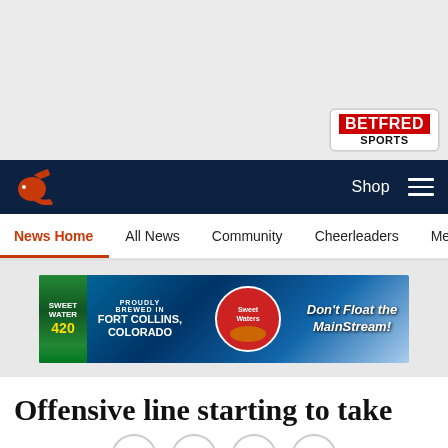[Figure (logo): Betfred Sports logo in top right corner]
Denver Broncos navigation bar with logo, Shop, and hamburger menu
News Home | All News | Community | Cheerleaders | Media Room
[Figure (screenshot): SweetWater 420 beer advertisement banner: PROUDLY BREWED IN FORT COLLINS, COLORADO - Don't Float the MainStream!]
Offensive line starting to take
[Figure (other): Share buttons: Facebook, Twitter, Email, Link]